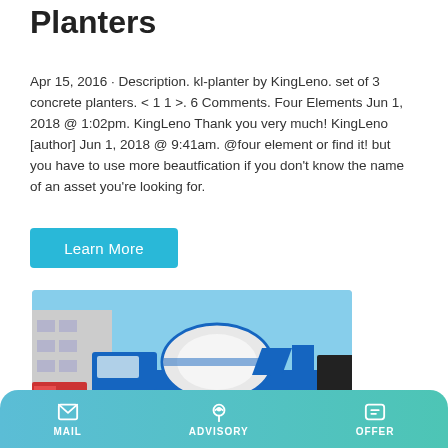Planters
Apr 15, 2016 · Description. kl-planter by KingLeno. set of 3 concrete planters. < 1 1 >. 6 Comments. Four Elements Jun 1, 2018 @ 1:02pm. KingLeno Thank you very much! KingLeno [author] Jun 1, 2018 @ 9:41am. @four element or find it! but you have to use more beautfication if you don't know the name of an asset you're looking for.
Learn More
[Figure (photo): A blue and white concrete mixer truck parked outdoors near a building under a blue sky.]
MAIL   ADVISORY   OFFER